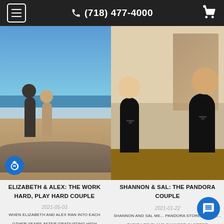(718) 477-4000
[Figure (photo): A couple kissing on a rocky beach with ocean in background]
[Figure (photo): A smiling couple holding up black ENGAGED 2020 t-shirts indoors]
ELIZABETH & ALEX: THE WORK HARD, PLAY HARD COUPLE
2021-05-03
WHEN ELIZABETH AND ALEX RAN INTO EACH OTHER YEARS AFTER GRADUATING HIGH SCHOOL, ELIZABETH DIDN'T RECOGNIZE ALEX, LET ALONE KNOW HE WENT TO HER
SHANNON & SAL: THE PANDORA COUPLE
2021-01-22
SHANNON AND SAL ME... PANDORA STORE FIVE YE... THEIR LIFE PLANS CHANGED IN ORDER